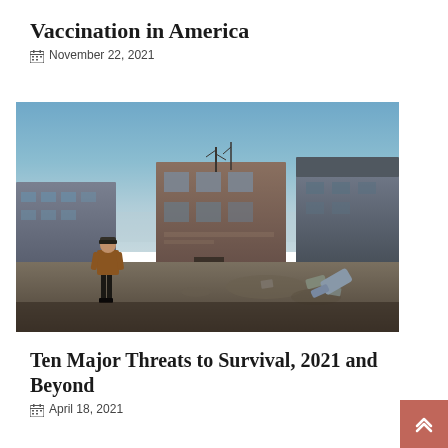Vaccination in America
📅 November 22, 2021
[Figure (photo): A person in an orange jacket stands in an abandoned industrial ruin with crumbling multi-story buildings under a dramatic blue-grey sky.]
Ten Major Threats to Survival, 2021 and Beyond
📅 April 18, 2021